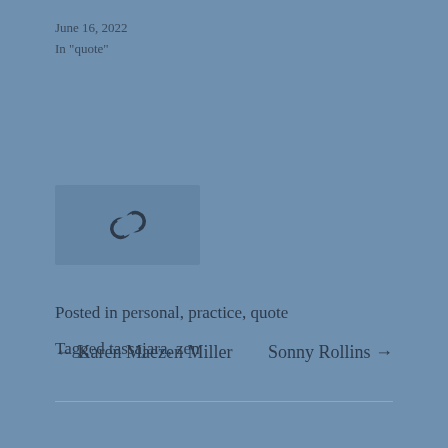June 16, 2022
In "quote"
[Figure (other): Chain link icon on a slightly lighter blue-grey rectangle background]
Posted in personal, practice, quote
Tagged tassajara, zen
← Karen Maezen Miller    Sonny Rollins →